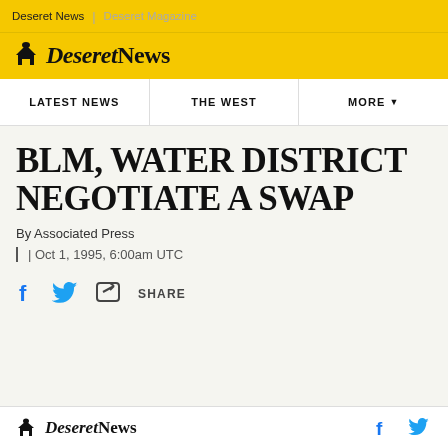Deseret News | Deseret Magazine
[Figure (logo): Deseret News logo with mountain/house icon on yellow background]
LATEST NEWS | THE WEST | MORE
BLM, WATER DISTRICT NEGOTIATE A SWAP
By Associated Press
| Oct 1, 1995, 6:00am UTC
SHARE
Deseret News